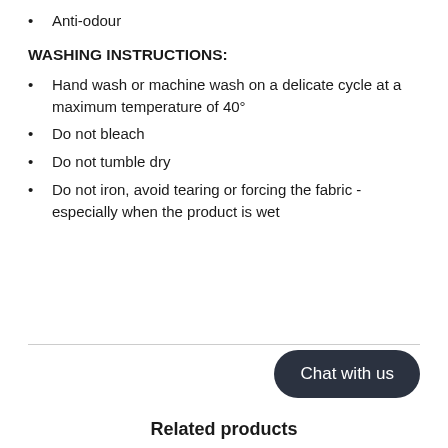Anti-odour
WASHING INSTRUCTIONS:
Hand wash or machine wash on a delicate cycle at a maximum temperature of 40°
Do not bleach
Do not tumble dry
Do not iron, avoid tearing or forcing the fabric - especially when the product is wet
Chat with us
Related products